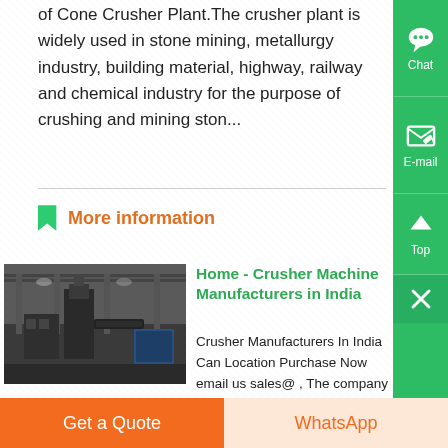of Cone Crusher Plant.The crusher plant is widely used in stone mining, metallurgy industry, building material, highway, railway and chemical industry for the purpose of crushing and mining ston...
More information
Home - Crusher Machine Manufacturers in India
Crusher Manufacturers In India Can Location Purchase Now email us sales@ , The company endeavors to maintain competitive price and stick
[Figure (photo): Industrial factory interior showing large machinery and equipment in a crusher manufacturing facility]
Get a Quote
WhatsApp